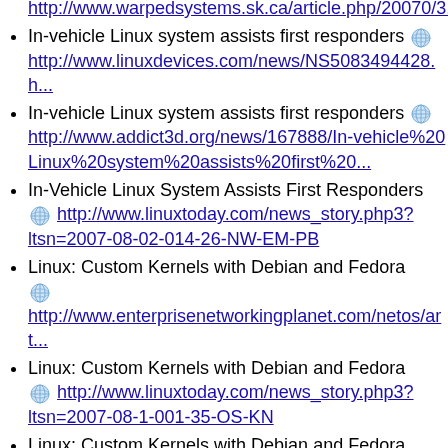http://www.warpedsystems.sk.ca/article.php/20070...
In-vehicle Linux system assists first responders http://www.linuxdevices.com/news/NS5083494428.h...
In-vehicle Linux system assists first responders http://www.addict3d.org/news/167888/In-vehicle%20Linux%20system%20assists%20first%20...
In-Vehicle Linux System Assists First Responders http://www.linuxtoday.com/news_story.php3?ltsn=2007-08-02-014-26-NW-EM-PB
Linux: Custom Kernels with Debian and Fedora http://www.enterprisenetworkingplanet.com/netos/art...
Linux: Custom Kernels with Debian and Fedora http://www.linuxtoday.com/news_story.php3?ltsn=2007-08-1-001-35-OS-KN
Linux: Custom Kernels with Debian and Fedora http://www.addict3d.org/news/168138/Linux:%20Cus...